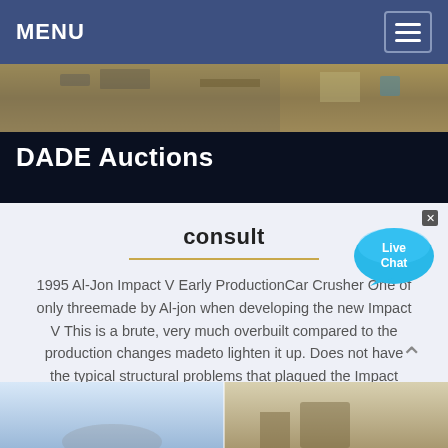MENU
[Figure (photo): Construction site or demolition aerial photo strip]
DADE Auctions
consult
1995 Al-Jon Impact V Early ProductionCar Crusher One of only threemade by Al-jon when developing the new Impact V This is a brute, very much overbuilt compared to the production changes madeto lighten it up. Does not have the typical structural problems that plagued the Impact Vs…
[Figure (illustration): Live Chat speech bubble widget]
[Figure (photo): Bottom image strip showing equipment or vehicle photos]